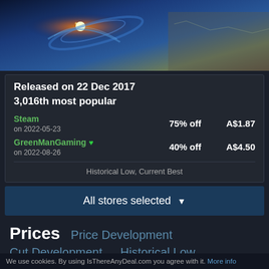[Figure (screenshot): Game banner image showing a sci-fi/space action scene with glowing spaceship and blue/orange color scheme]
Released on 22 Dec 2017
3,016th most popular
Steam
on 2022-05-23	75% off	A$1.87
GreenManGaming ♥
on 2022-08-26	40% off	A$4.50
Historical Low, Current Best
All stores selected ▼
Prices
Price Development
Cut Development
Historical Low
Number of Sales
Average Sale Duration
We use cookies. By using IsThereAnyDeal.com you agree with it. More info